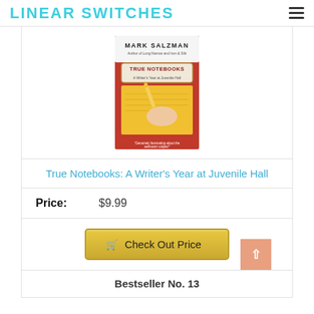LINEAR SWITCHES
[Figure (photo): Book cover of 'True Notebooks: A Writer's Year at Juvenile Hall' by Mark Salzman. Shows a hand writing with a pencil on yellow paper, with a red background and a white title label.]
True Notebooks: A Writer's Year at Juvenile Hall
Price: $9.99
Check Out Price
Bestseller No. 13